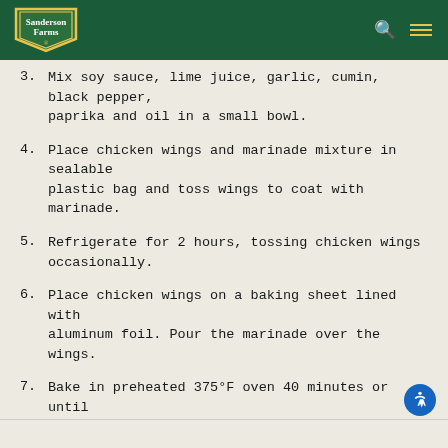Sanderson Farms
3. Mix soy sauce, lime juice, garlic, cumin, black pepper, paprika and oil in a small bowl.
4. Place chicken wings and marinade mixture in sealable plastic bag and toss wings to coat with marinade.
5. Refrigerate for 2 hours, tossing chicken wings occasionally.
6. Place chicken wings on a baking sheet lined with aluminum foil. Pour the marinade over the wings.
7. Bake in preheated 375°F oven 40 minutes or until chicken wings are to an internal temperature of 190°F.